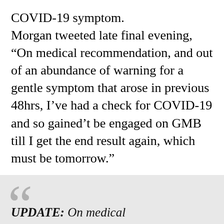COVID-19 symptom.
Morgan tweeted late final evening, “On medical recommendation, and out of an abundance of warning for a gentle symptom that arose in previous 48hrs, I’ve had a check for COVID-19 and so gained’t be engaged on GMB till I get the end result again, which must be tomorrow.”
UPDATE: On medical recommendation, and out of an abundance of warning for a gentle symptom that arose in previous 48hrs, I’ve had a check for COVID-19 and so gained’t be engaged on @GMB till I get the end result again, which